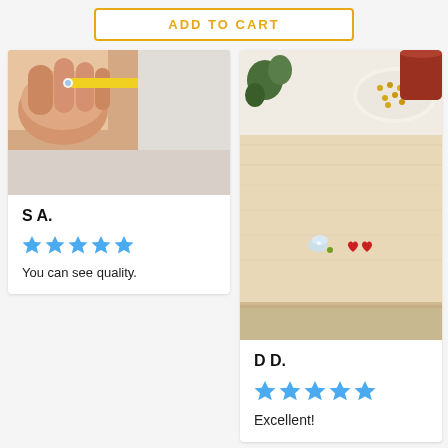ADD TO CART
[Figure (photo): Hand holding a small floral jewelry piece with a yellow tool/pencil, crafting photo]
S A.
★★★★★ (5 stars)
You can see quality.
[Figure (photo): Table with small earrings laid out - crystal butterfly, green stone, and red heart earrings, with a plate of jewelry in background]
D D.
★★★★★ (5 stars)
Excellent!